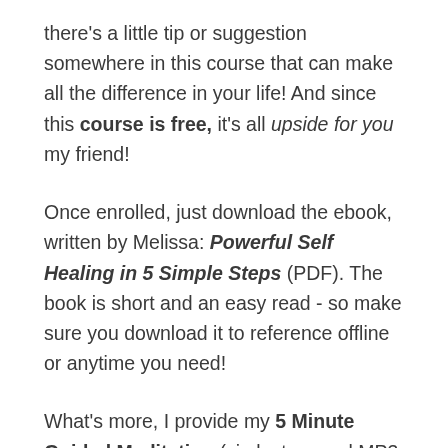there's a little tip or suggestion somewhere in this course that can make all the difference in your life! And since this course is free, it's all upside for you my friend!
Once enrolled, just download the ebook, written by Melissa: Powerful Self Healing in 5 Simple Steps (PDF). The book is short and an easy read - so make sure you download it to reference offline or anytime you need!
What's more, I provide my 5 Minute Guided Meditation (via lecture and MP3 download) to help you relax in stressful times - when